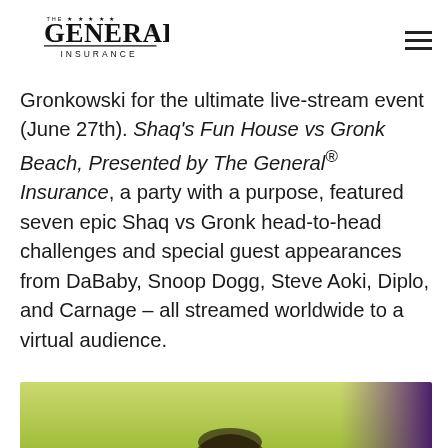The General Insurance logo and navigation menu
Gronkowski for the ultimate live-stream event (June 27th). Shaq's Fun House vs Gronk Beach, Presented by The General® Insurance, a party with a purpose, featured seven epic Shaq vs Gronk head-to-head challenges and special guest appearances from DaBaby, Snoop Dogg, Steve Aoki, Diplo, and Carnage – all streamed worldwide to a virtual audience.
[Figure (photo): Bottom portion of a photo showing people at an outdoor event, with green/yellow background and purple tones on right edge]